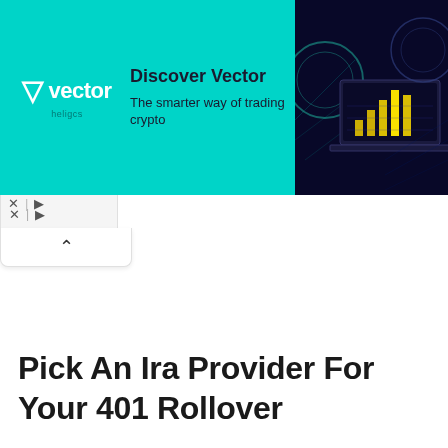[Figure (infographic): Advertisement banner for Vector Heligcs crypto trading platform. Left side has cyan/teal background with Vector logo (V icon + 'vector' text, 'heligcs' subtitle), headline 'Discover Vector', subtext 'The smarter ter way of trading crypto'. Right side shows dark blue background with a laptop displaying a yellow bar chart and crypto coin imagery.]
X ▷
Pick An Ira Provider For Your 401 Rollover